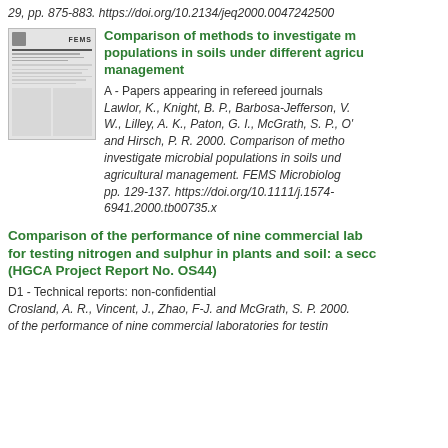29, pp. 875-883. https://doi.org/10.2134/jeq2000.00472425000
[Figure (other): Thumbnail image of a FEMS journal article page]
Comparison of methods to investigate microbial populations in soils under different agricultural management
A - Papers appearing in refereed journals
Lawlor, K., Knight, B. P., Barbosa-Jefferson, V. W., Lilley, A. K., Paton, G. I., McGrath, S. P., O' and Hirsch, P. R. 2000. Comparison of methods to investigate microbial populations in soils under agricultural management. FEMS Microbiology pp. 129-137. https://doi.org/10.1111/j.1574-6941.2000.tb00735.x
Comparison of the performance of nine commercial laboratories for testing nitrogen and sulphur in plants and soil: a second (HGCA Project Report No. OS44)
D1 - Technical reports: non-confidential
Crosland, A. R., Vincent, J., Zhao, F-J. and McGrath, S. P. 2000. of the performance of nine commercial laboratories for testing